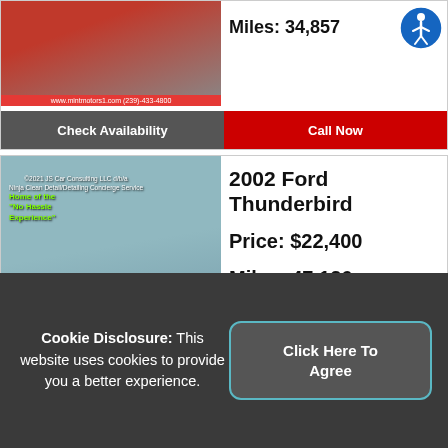[Figure (photo): Partially visible red car listing photo with www.mintmotors1.com (239)-433-4800 watermark bar]
Miles: 34,857
Check Availability
Call Now
[Figure (photo): 2002 Ford Thunderbird light blue convertible car photo with green badge text and www.mintmotors1.com (239)-433-4800 watermark bar]
2002 Ford Thunderbird
Price: $22,400
Miles: 47,126
Check Availability
Call Now
[Figure (photo): Partially visible car listing with Early Access - JUST LANDED! red banner]
2020 Ford Transit
Cookie Disclosure: This website uses cookies to provide you a better experience.
Click Here To Agree